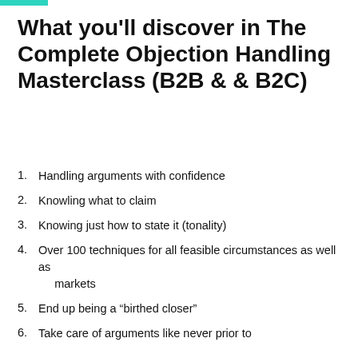What you'll discover in The Complete Objection Handling Masterclass (B2B & & B2C)
Handling arguments with confidence
Knowling what to claim
Knowing just how to state it (tonality)
Over 100 techniques for all feasible circumstances as well as markets
End up being a “bitrhed closer”
Take care of arguments like never prior to